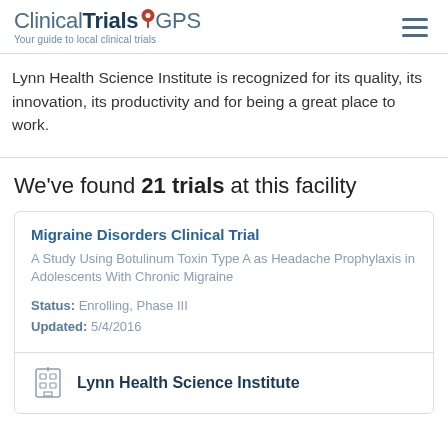ClinicalTrials GPS — Your guide to local clinical trials
Lynn Health Science Institute is recognized for its quality, its innovation, its productivity and for being a great place to work.
We've found 21 trials at this facility
Migraine Disorders Clinical Trial — A Study Using Botulinum Toxin Type A as Headache Prophylaxis in Adolescents With Chronic Migraine — Status: Enrolling, Phase III — Updated: 5/4/2016
Lynn Health Science Institute